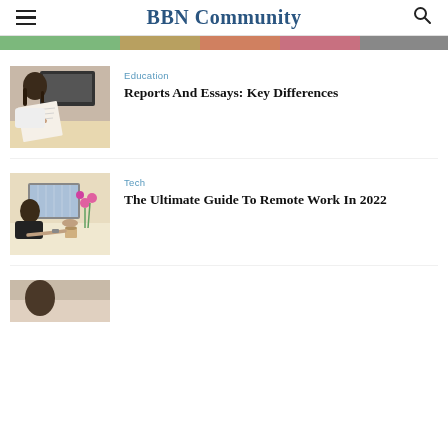BBN Community
[Figure (photo): Partially visible image strip at top of content area]
[Figure (photo): Person sitting at a desk writing in a notebook with a laptop open in the background]
Education
Reports And Essays: Key Differences
[Figure (photo): Person working at a laptop with colorful items, flowers, and a coffee cup on the desk]
Tech
The Ultimate Guide To Remote Work In 2022
[Figure (photo): Partial view of a third article image at the bottom of the page]